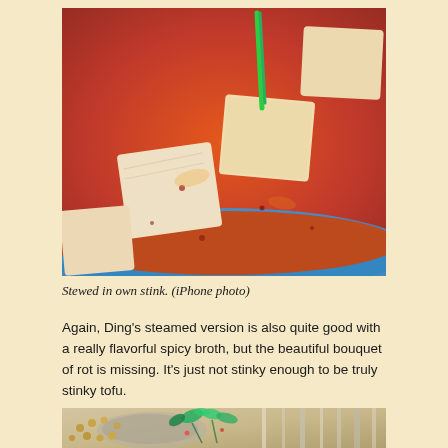[Figure (photo): Close-up photo of stinky tofu cubes in a spicy red broth in a blue bowl, taken with iPhone]
Stewed in own stink. (iPhone photo)
Again, Ding's steamed version is also quite good with a really flavorful spicy broth, but the beautiful bouquet of rot is missing. It's just not stinky enough to be truly stinky tofu.
[Figure (photo): Photo of a dish with chickpeas or corn kernels and fresh cilantro/herbs with a ladle, partially visible at bottom of page]